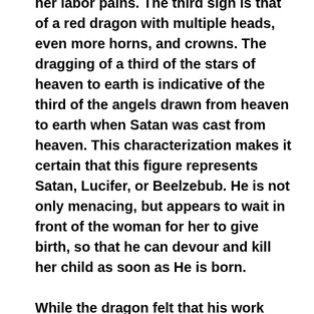her labor pains. The third sign is that of a red dragon with multiple heads, even more horns, and crowns. The dragging of a third of the stars of heaven to earth is indicative of the third of the angels drawn from heaven to earth when Satan was cast from heaven. This characterization makes it certain that this figure represents Satan, Lucifer, or Beelzebub. He is not only menacing, but appears to wait in front of the woman for her to give birth, so that he can devour and kill her child as soon as He is born.

While the dragon felt that his work was done,